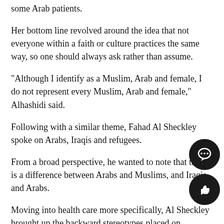some Arab patients.
Her bottom line revolved around the idea that not everyone within a faith or culture practices the same way, so one should always ask rather than assume.
“Although I identify as a Muslim, Arab and female, I do not represent every Muslim, Arab and female,” Alhashidi said.
Following with a similar theme, Fahad Al Sheckley spoke on Arabs, Iraqis and refugees.
From a broad perspective, he wanted to note that there is a difference between Arabs and Muslims, and Iraqis and Arabs.
Moving into health care more specifically, Al Sheckley brought up the backward stereotypes placed on refugees.
“There’s always this misconception of refugees coming recently, th… are uneducated, unvaccinated and unsanitary,” he said.
The event came to a close with a few minutes for the presenters to t…